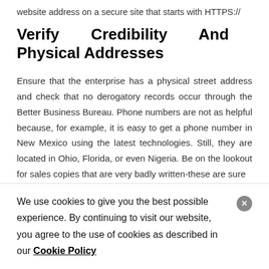website address on a secure site that starts with HTTPS://
Verify Credibility And Physical Addresses
Ensure that the enterprise has a physical street address and check that no derogatory records occur through the Better Business Bureau. Phone numbers are not as helpful because, for example, it is easy to get a phone number in New Mexico using the latest technologies. Still, they are located in Ohio, Florida, or even Nigeria. Be on the lookout for sales copies that are very badly written-these are sure
We use cookies to give you the best possible experience. By continuing to visit our website, you agree to the use of cookies as described in our Cookie Policy